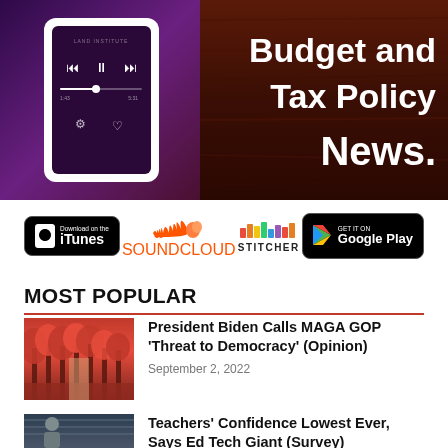[Figure (illustration): Banner image with podcast player UI on the left (purple background, phone mockup with music controls) and dark wood background on the right with bold white text 'Budget and Tax Policy News.']
[Figure (logo): Podcast platform download buttons: iTunes, SoundCloud, Stitcher, Google Play]
MOST POPULAR
[Figure (photo): Red autumn trees lining a path]
President Biden Calls MAGA GOP 'Threat to Democracy' (Opinion)
September 2, 2022
[Figure (photo): Person sitting, likely in a library setting]
Teachers' Confidence Lowest Ever, Says Ed Tech Giant (Survey)